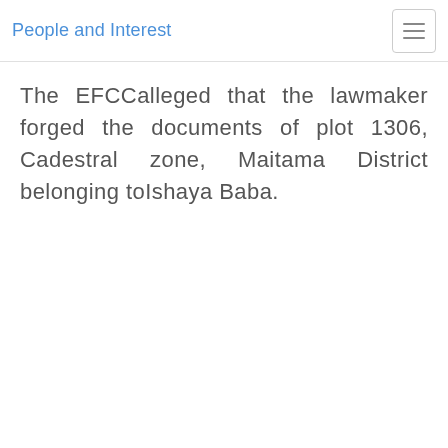People and Interest
The EFCCalleged that the lawmaker forged the documents of plot 1306, Cadestral zone, Maitama District belonging toIshaya Baba.